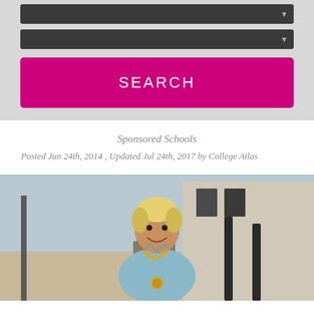[Figure (screenshot): Two dark dropdown/select bars with filter arrow icons on a gray background, followed by a magenta SEARCH button]
Sponsored Schools
Posted Jun 24th, 2014 , Updated Jul 24th, 2017 by College Atlas
[Figure (photo): A smiling Black woman with short blonde hair wearing light blue medical scrubs and a yellow stethoscope, standing outdoors on a sidewalk in front of a building]